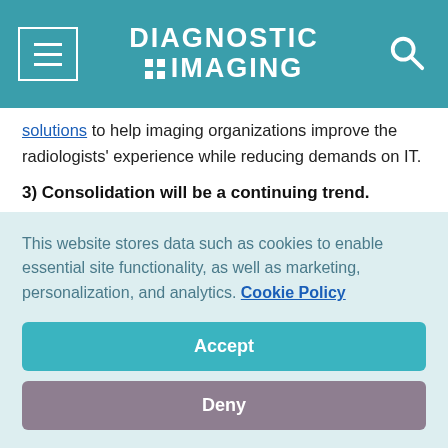DIAGNOSTIC IMAGING
solutions to help imaging organizations improve the radiologists' experience while reducing demands on IT.
3) Consolidation will be a continuing trend.
Four or five years ago at the RSNA annual meeting, you would find aisle after aisle of small vendors offering clinical decision support solutions. It seemed that any person with a dream had a booth that boasted a new way to help clinicians
This website stores data such as cookies to enable essential site functionality, as well as marketing, personalization, and analytics. Cookie Policy
Accept
Deny